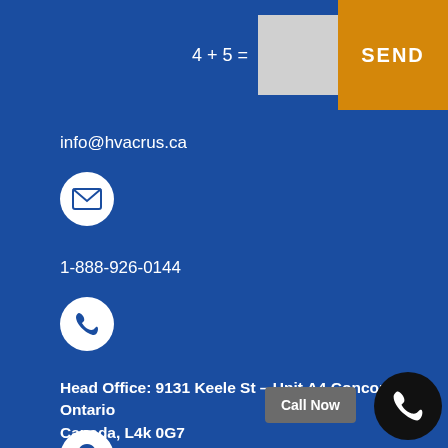4 + 5 =
[Figure (screenshot): CAPTCHA form row: math equation '4 + 5 =' with blank input box and orange SEND button]
info@hvacrus.ca
[Figure (illustration): White circle icon with a blue envelope/mail symbol]
1-888-926-0144
[Figure (illustration): White circle icon with a blue phone/handset symbol]
Head Office: 9131 Keele St – Unit A4 Concord, Ontario Canada, L4k 0G7
[Figure (illustration): White circle icon with a blue location pin symbol]
Call Now
[Figure (illustration): Black circle button with white phone handset icon]